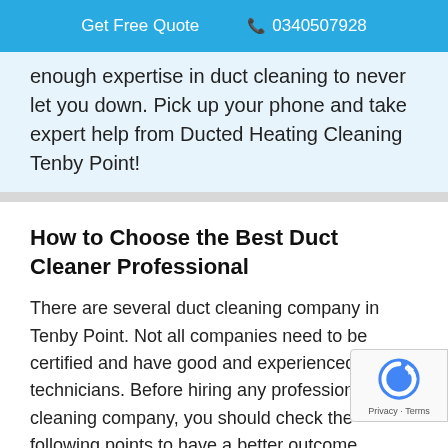Get Free Quote  0340507928
enough expertise in duct cleaning to never let you down. Pick up your phone and take expert help from Ducted Heating Cleaning Tenby Point!
How to Choose the Best Duct Cleaner Professional
There are several duct cleaning company in Tenby Point. Not all companies need to be certified and have good and experienced technicians. Before hiring any professional duct cleaning company, you should check the following points to have a better outcome.
1. Ensure that your duct cleaning company is certified and...